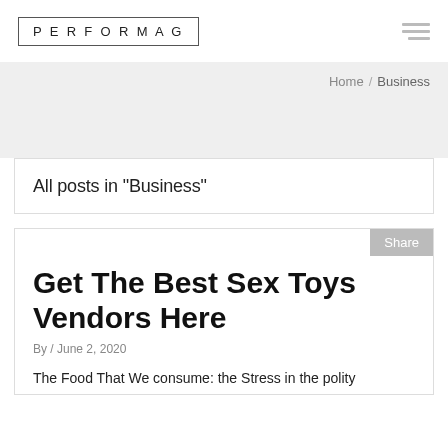PERFORMAG
Home / Business
All posts in "Business"
Get The Best Sex Toys Vendors Here
By / June 2, 2020
The Food That We consume: the Stress in the polity